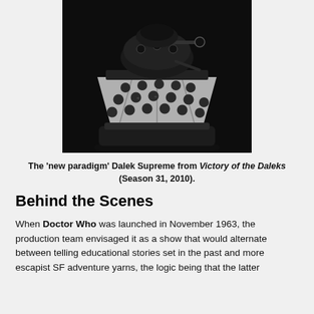[Figure (photo): Black and white photograph of the 'new paradigm' Dalek Supreme prop from Doctor Who, showing its distinctive dome head, mid-section with spherical bumps arranged in rows, and base, against a dark background.]
The 'new paradigm' Dalek Supreme from Victory of the Daleks (Season 31, 2010).
Behind the Scenes
When Doctor Who was launched in November 1963, the production team envisaged it as a show that would alternate between telling educational stories set in the past and more escapist SF adventure yarns, the logic being that the latter